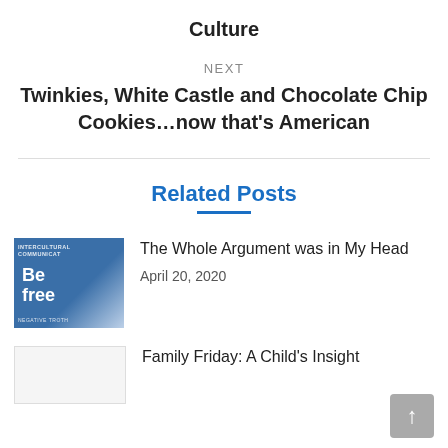Culture
NEXT
Twinkies, White Castle and Chocolate Chip Cookies…now that's American
Related Posts
The Whole Argument was in My Head
April 20, 2020
Family Friday: A Child's Insight